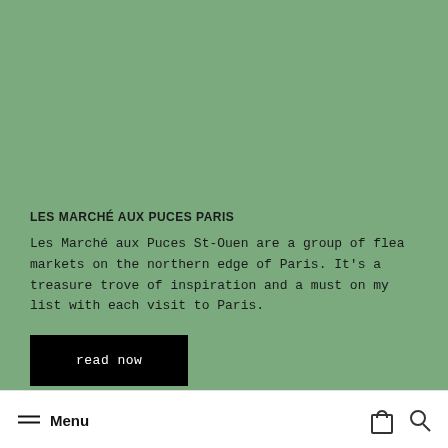[Figure (photo): Green background panel filling the upper portion of the page]
LES MARCHÉ AUX PUCES PARIS
Les Marché aux Puces St-Ouen are a group of flea markets on the northern edge of Paris. It's a treasure trove of inspiration and a must on my list with each visit to Paris.
read now
Menu